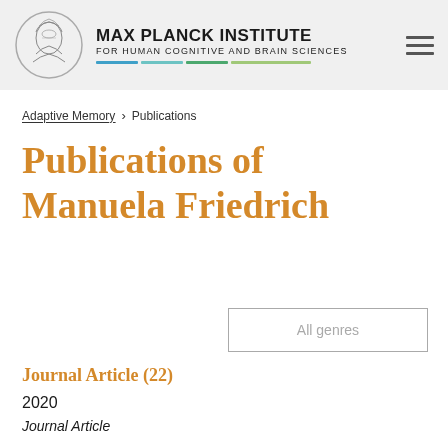MAX PLANCK INSTITUTE FOR HUMAN COGNITIVE AND BRAIN SCIENCES
Adaptive Memory > Publications
Publications of Manuela Friedrich
All genres
Journal Article (22)
2020
Journal Article